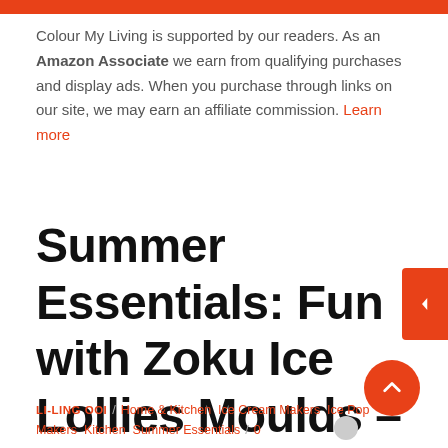Colour My Living is supported by our readers. As an Amazon Associate we earn from qualifying purchases and display ads. When you purchase through links on our site, we may earn an affiliate commission. Learn more
Summer Essentials: Fun with Zoku Ice Lollies Moulds – Perfect Ice Lollies for Summer
LI-LING OOI / Home & Kitchen  Ice Cream Makers  Ice Pop Makers  Kitchen  Summer Essentials / 0